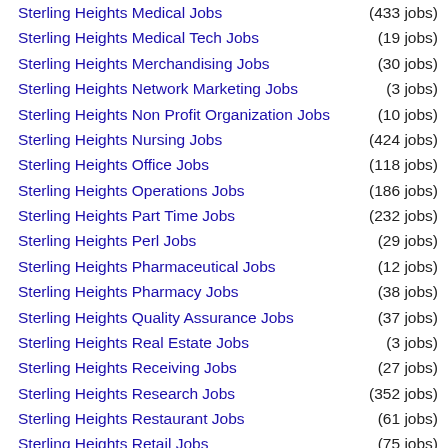Sterling Heights Medical Jobs (433 jobs)
Sterling Heights Medical Tech Jobs (19 jobs)
Sterling Heights Merchandising Jobs (30 jobs)
Sterling Heights Network Marketing Jobs (3 jobs)
Sterling Heights Non Profit Organization Jobs (10 jobs)
Sterling Heights Nursing Jobs (424 jobs)
Sterling Heights Office Jobs (118 jobs)
Sterling Heights Operations Jobs (186 jobs)
Sterling Heights Part Time Jobs (232 jobs)
Sterling Heights Perl Jobs (29 jobs)
Sterling Heights Pharmaceutical Jobs (12 jobs)
Sterling Heights Pharmacy Jobs (38 jobs)
Sterling Heights Quality Assurance Jobs (37 jobs)
Sterling Heights Real Estate Jobs (3 jobs)
Sterling Heights Receiving Jobs (27 jobs)
Sterling Heights Research Jobs (352 jobs)
Sterling Heights Restaurant Jobs (61 jobs)
Sterling Heights Retail Jobs (75 jobs)
Sterling Heights Retail Management Jobs (31 jobs)
Sterling Heights Retail Sales Jobs (50 jobs)